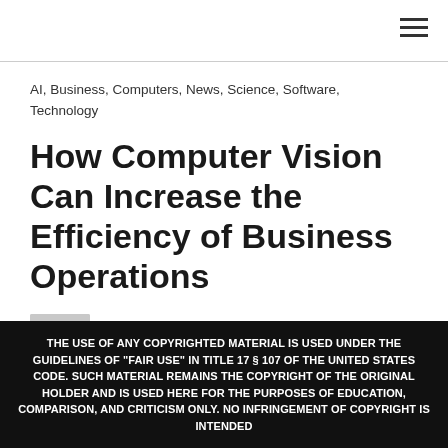≡
AI, Business, Computers, News, Science, Software, Technology
How Computer Vision Can Increase the Efficiency of Business Operations
GUEST AUTHOR
November 21, 2022 7:31 AM
THE USE OF ANY COPYRIGHTED MATERIAL IS USED UNDER THE GUIDELINES OF "FAIR USE" IN TITLE 17 § 107 OF THE UNITED STATES CODE. SUCH MATERIAL REMAINS THE COPYRIGHT OF THE ORIGINAL HOLDER AND IS USED HERE FOR THE PURPOSES OF EDUCATION, COMPARISON, AND CRITICISM ONLY. NO INFRINGEMENT OF COPYRIGHT IS INTENDED